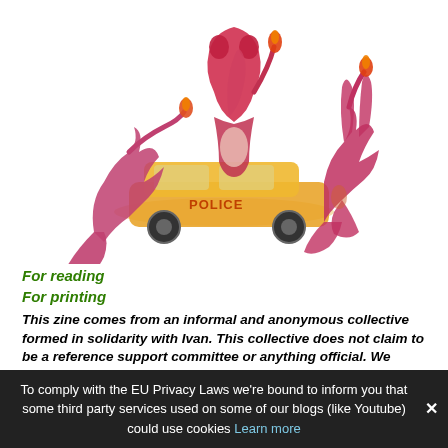[Figure (illustration): Colorful illustration of three anthropomorphic animals (fox, bear/squirrel on a police car, rabbit/hare) drawn in red and orange ink, holding torches, surrounding a yellow police car with 'POLICE' written on it.]
For reading
For printing
This zine comes from an informal and anonymous collective formed in solidarity with Ivan. This collective does not claim to be a reference support committee or anything official. We welcome all autonomous initiatives in solidarity with Ivan and/or any other prisoner of the social war. Just as we welcome the reproduction and distribution of this
To comply with the EU Privacy Laws we're bound to inform you that some third party services used on some of our blogs (like Youtube) could use cookies Learn more ✕